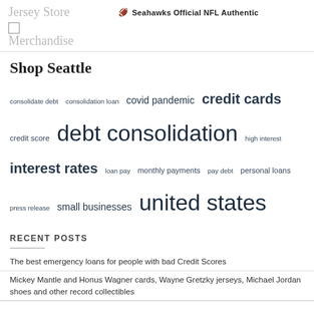Jersey Store Merchandise | Seahawks Official NFL Authentic
Shop Seattle
consolidate debt  consolidation loan  covid pandemic  credit cards  credit score  debt consolidation  high interest  interest rates  loan pay  monthly payments  pay debt  personal loans  press release  small businesses  united states
RECENT POSTS
The best emergency loans for people with bad Credit Scores
Mickey Mantle and Honus Wagner cards, Wayne Gretzky jerseys, Michael Jordan shoes and other record collectibles